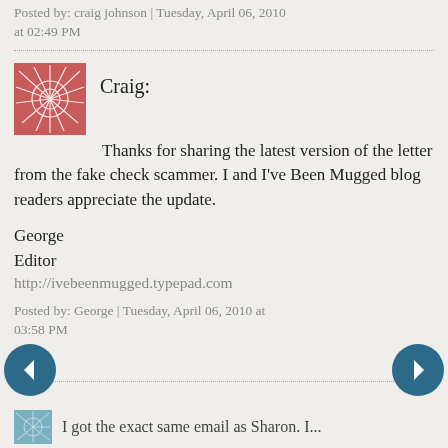Posted by: craig johnson | Tuesday, April 06, 2010 at 02:49 PM
Craig:

Thanks for sharing the latest version of the letter from the fake check scammer. I and I've Been Mugged blog readers appreciate the update.

George
Editor
http://ivebeenmugged.typepad.com
Posted by: George | Tuesday, April 06, 2010 at 03:58 PM
I got the exact same email as Sharon. I...